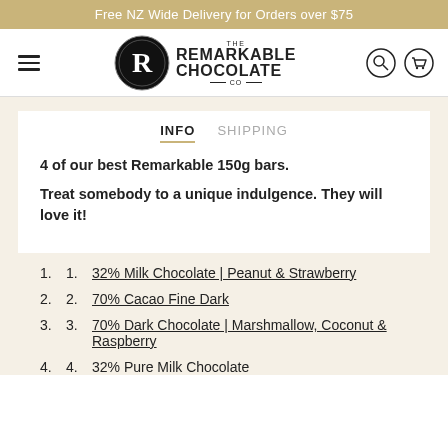Free NZ Wide Delivery for Orders over $75
[Figure (logo): The Remarkable Chocolate Co logo with hamburger menu, circular R emblem, brand name text, search icon and cart icon]
INFO   SHIPPING
4 of our best Remarkable 150g bars.
Treat somebody to a unique indulgence. They will love it!
32% Milk Chocolate | Peanut & Strawberry
70% Cacao Fine Dark
70% Dark Chocolate | Marshmallow, Coconut & Raspberry
32% Pure Milk Chocolate